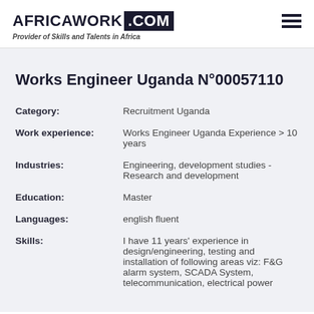AFRICAWORK .COM — Provider of Skills and Talents in Africa
Works Engineer Uganda N°00057110
| Field | Value |
| --- | --- |
| Category: | Recruitment Uganda |
| Work experience: | Works Engineer Uganda Experience > 10 years |
| Industries: | Engineering, development studies - Research and development |
| Education: | Master |
| Languages: | english fluent |
| Skills: | I have 11 years' experience in design/engineering, testing and installation of following areas viz: F&G alarm system, SCADA System, telecommunication, electrical power |